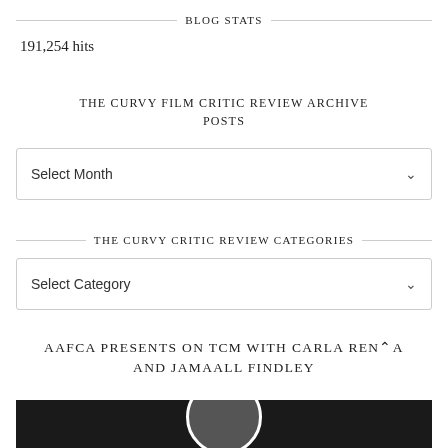BLOG STATS
191,254 hits
THE CURVY FILM CRITIC REVIEW ARCHIVE POSTS
Select Month
THE CURVY CRITIC REVIEW CATEGORIES
Select Category
AAFCA PRESENTS ON TCM WITH CARLA RENATA AND JAMAALL FINDLEY
[Figure (photo): Dark photograph strip showing a partial circular portrait photo at the bottom]